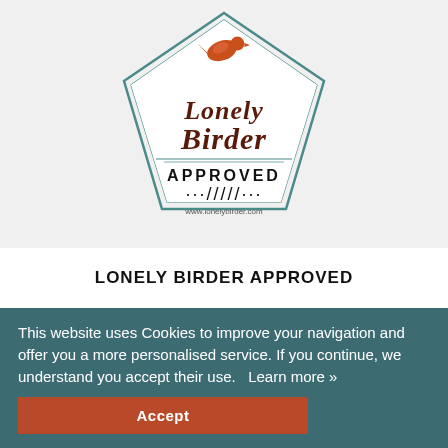[Figure (logo): Lonely Birder Approved stamp/badge with orange bird silhouette, pentagon-shaped border, text 'Lonely Birder APPROVED' and decorative feather marks, www.lonelybirder.com]
LONELY BIRDER APPROVED
This website uses Cookies to improve your navigation and offer you a more personalised service. If you continue, we understand you accept their use.   Learn more »
Accept